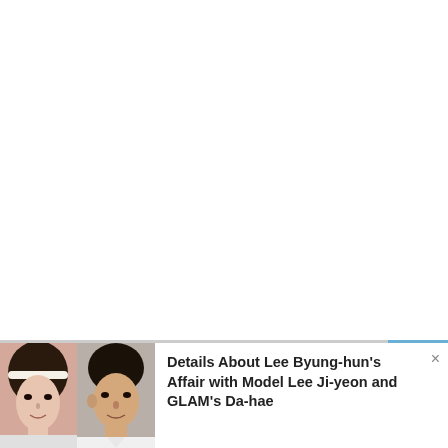[Figure (photo): White blank area occupying the top two-thirds of the page]
[Figure (photo): Thumbnail images of two people: a woman on the left and a man on the right, partially visible at the bottom of the page in a content recommendation card]
Details About Lee Byung-hun's Affair with Model Lee Ji-yeon and GLAM's Da-hae